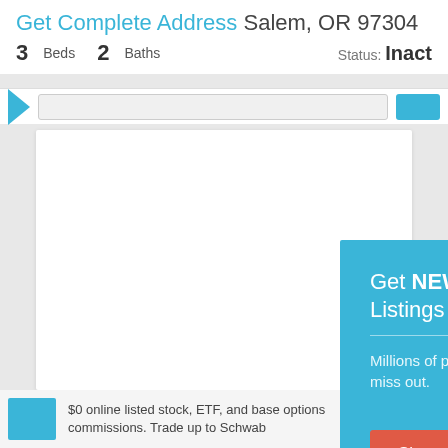Get Complete Address Salem, OR 97304
3 Beds  2 Baths   Status: Inact
[Figure (screenshot): Website navigation bar with teal arrow, search input, and blue button]
[Figure (screenshot): White content card area]
Get NEW Foreclosure Listings sent to your inbox
Millions of people receive foreclosure alerts daily, don't miss out.
Signup Here
No Thanks | Remind Me Later
$0 online listed stock, ETF, and base options commissions. Trade up to Schwab